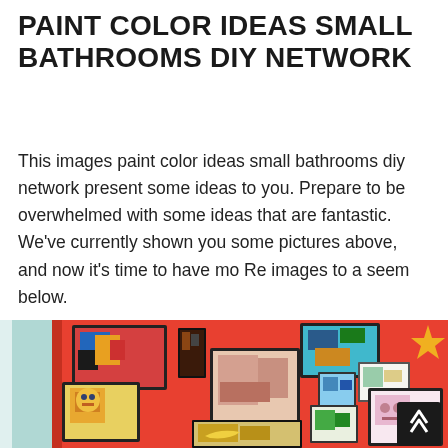PAINT COLOR IDEAS SMALL BATHROOMS DIY NETWORK
This images paint color ideas small bathrooms diy network present some ideas to you. Prepare to be overwhelmed with some ideas that are fantastic. We've currently shown you some pictures above, and now it's time to have mo Re images to a seem below.
[Figure (photo): A brightly painted red bathroom wall covered with numerous framed children's artworks and paintings in colorful frames. A yellow star decoration is visible in the upper right. The room has a light blue door visible on the left.]